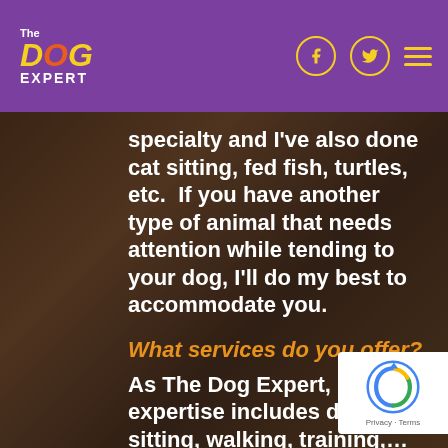The Dog Expert
specialty and I've also done cat sitting, fed fish, turtles, etc.  If you have another type of animal that needs attention while tending to your dog, I'll do my best to accommodate you.
What services do you offer?
As The Dog Expert, my expertise includes dog sitting, walking, training,… to how your dog impacts your human relationships! Check out my best selling book titled, Leashes and Lovers: What Your Dog Can Teach You About Love, Life, and